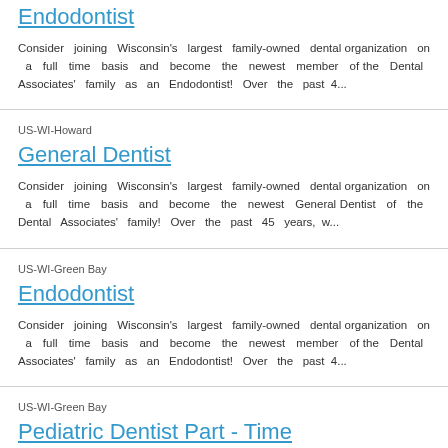Endodontist
Consider joining Wisconsin's largest family-owned dental organization on a full time basis and become the newest member of the Dental Associates' family as an Endodontist!  Over the past 4...
US-WI-Howard
General Dentist
Consider joining Wisconsin's largest family-owned dental organization on a full time basis and become the newest General Dentist of the Dental Associates' family!  Over the past 45 years, w...
US-WI-Green Bay
Endodontist
Consider joining Wisconsin's largest family-owned dental organization on a full time basis and become the newest member of the Dental Associates' family as an Endodontist!  Over the past 4...
US-WI-Green Bay
Pediatric Dentist Part - Time